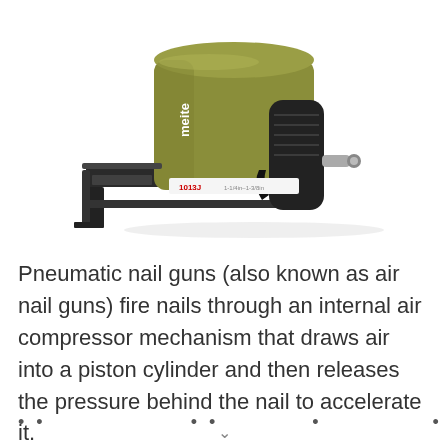[Figure (photo): A yellow and black pneumatic nail gun (meite brand, model 1013J) shown in profile view against a white background.]
Pneumatic nail guns (also known as air nail guns) fire nails through an internal air compressor mechanism that draws air into a piston cylinder and then releases the pressure behind the nail to accelerate it.